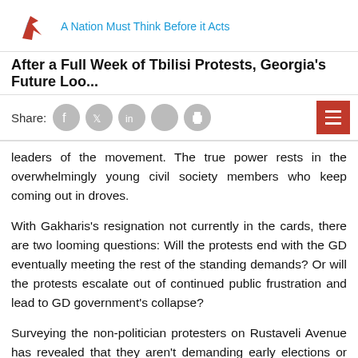A Nation Must Think Before it Acts
After a Full Week of Tbilisi Protests, Georgia's Future Loo...
Share:
leaders of the movement. The true power rests in the overwhelmingly young civil society members who keep coming out in droves.
With Gakharis's resignation not currently in the cards, there are two looming questions: Will the protests end with the GD eventually meeting the rest of the standing demands? Or will the protests escalate out of continued public frustration and lead to GD government's collapse?
Surveying the non-politician protesters on Rustaveli Avenue has revealed that they aren't demanding early elections or the dissolution of the government, so the second scenario is unlikely right now.[1] The protesters wish to change the bipolar political system, which is characterized by the